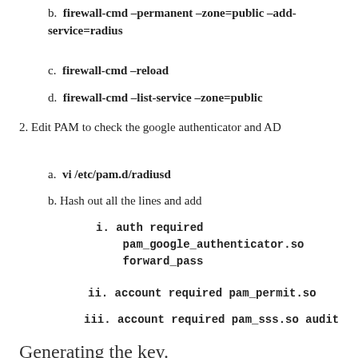b. firewall-cmd –permanent –zone=public –add-service=radius
c. firewall-cmd –reload
d. firewall-cmd –list-service –zone=public
2. Edit PAM to check the google authenticator and AD
a. vi /etc/pam.d/radiusd
b. Hash out all the lines and add
i. auth required pam_google_authenticator.so forward_pass
ii. account required pam_permit.so
iii. account required pam_sss.so audit
Generating the key.
1. Switch to the AD...